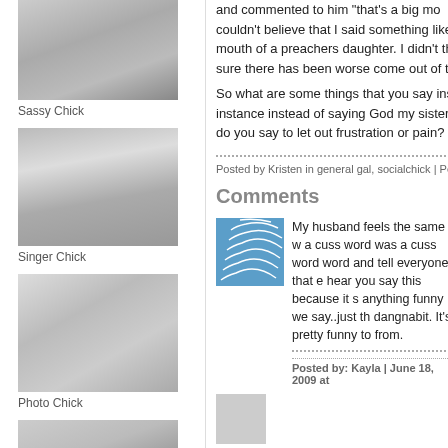[Figure (photo): Black and white headshot of a smiling woman, top of sidebar]
Sassy Chick
[Figure (photo): Black and white headshot of a smiling blonde woman]
Singer Chick
[Figure (photo): Black and white headshot of a smiling blonde woman]
Photo Chick
[Figure (photo): Black and white headshot of a smiling woman with earrings]
and commented to him "that's a big mo couldn't believe that I said something like mouth of a preachers daughter. I didn't th sure there has been worse come out of t
So what are some things that you say ins instance instead of saying God my sister do you say to let out frustration or pain?
Posted by Kristen in general gal, socialchick | Pe
Comments
[Figure (logo): Blue wave/shell logo avatar for commenter Kayla]
My husband feels the same w a cuss word was a cuss word word and tell everyone that e hear you say this because it s anything funny we say..just th dangnabit. It's pretty funny to from.
Posted by: Kayla | June 18, 2009 at